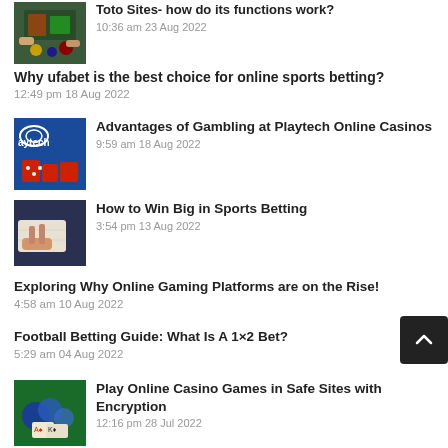[Figure (photo): Casino hands with cards and chips on green table]
Toto Sites- how do its functions work?
10:36 am 23 Aug 2022
Why ufabet is the best choice for online sports betting?
12:49 pm 18 Aug 2022
[Figure (photo): Playtech casino logo with red dice]
Advantages of Gambling at Playtech Online Casinos
9:59 am 18 Aug 2022
[Figure (photo): Person holding playing cards at table]
How to Win Big in Sports Betting
3:54 pm 13 Aug 2022
Exploring Why Online Gaming Platforms are on the Rise!
4:58 am 10 Aug 2022
Football Betting Guide: What Is A 1×2 Bet?
5:29 am 04 Aug 2022
[Figure (photo): Casino chips and cards on table]
Play Online Casino Games in Safe Sites with Encryption
12:16 pm 28 Jul 2022